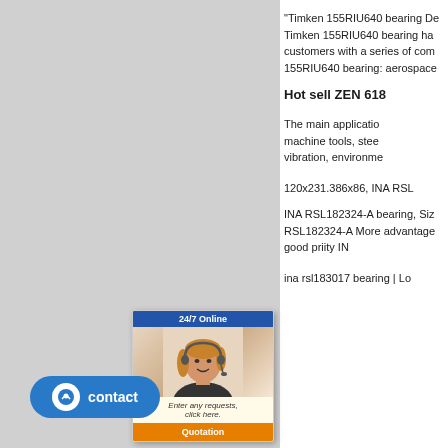[Figure (screenshot): Gray left panel area of a webpage]
"Timken 155RIU640 bearing De...
Timken 155RIU640 bearing ha... customers with a series of com... 155RIU640 bearing: aerospace...
Hot sell ZEN 618...
The main applicatio... machine tools, stee... vibration, environme...
120x231.386x86, INA RSL...
INA RSL182324-A bearing, Siz... RSL182324-A More advantage... good pri... ity IN...
ina rsl183017 bearing | Lo...
[Figure (screenshot): 24/7 Online chat widget with female customer service representative avatar]
[Figure (screenshot): Blue contact button widget at bottom of page]